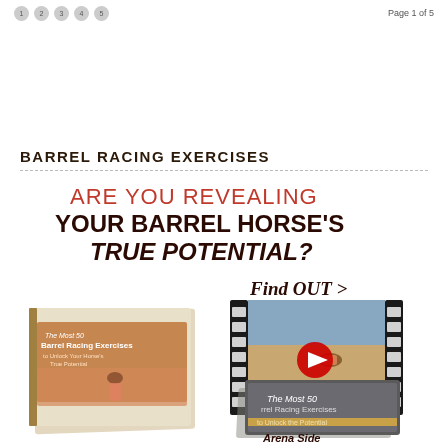1 2 3 4 5   Page 1 of 5
BARREL RACING EXERCISES
[Figure (illustration): Promotional advertisement image for 'The Most 50 Barrel Racing Exercises' product. Shows headline text 'ARE YOU REVEALING YOUR BARREL HORSE'S TRUE POTENTIAL? Find OUT >' with book cover, video thumbnail showing horse and rider, and Arena Side Workbook product images.]